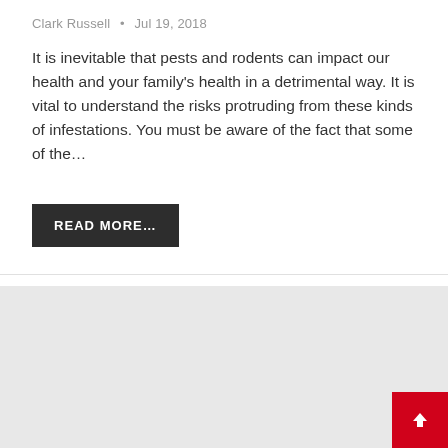Clark Russell • Jul 19, 2018
It is inevitable that pests and rodents can impact our health and your family's health in a detrimental way. It is vital to understand the risks protruding from these kinds of infestations. You must be aware of the fact that some of the...
READ MORE...
[Figure (other): Gray placeholder image block below a horizontal divider line]